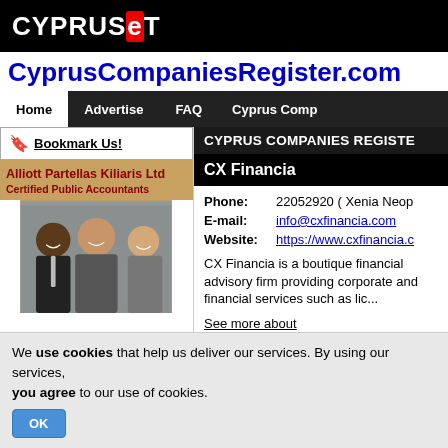CYPRUSNeT
CyprusCompaniesRegister.com
Home | Advertise | FAQ | Cyprus Comp
🔖 Bookmark Us!
[Figure (photo): Alliott Partellas Kiliaris Ltd Certified Public Accountants advertisement with group of professionals photo]
CYPRUS COMPANIES REGISTER
CX Financia
Phone: 22052920 ( Xenia Neop
E-mail: info@cxfinancia.com
Website: https://www.cxfinancia.c
CX Financia is a boutique financial advisory firm providing corporate and financial services such as lic...
See more about
We use cookies that help us deliver our services. By using our services, you agree to our use of cookies.
OK